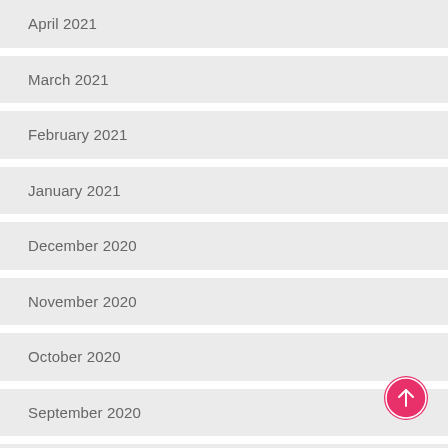April 2021
March 2021
February 2021
January 2021
December 2020
November 2020
October 2020
September 2020
May 2020